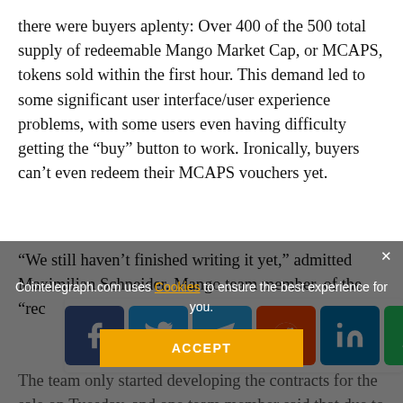there were buyers aplenty: Over 400 of the 500 total supply of redeemable Mango Market Cap, or MCAPS, tokens sold within the first hour. This demand led to some significant user interface/user experience problems, with some users even having difficulty getting the “buy” button to work. Ironically, buyers can’t even redeem their MCAPS vouchers yet.
“We still haven’t finished writing it yet,” admitted Maximilian Schneider. Mango team member. of the “rec...
[Figure (other): Social share bar with icons for Facebook, Twitter, Telegram, Reddit, LinkedIn, WhatsApp, Copy, and scroll-up button]
The team only started developing the contracts for the sale on Tuesday, and one team member said that due to bugs, he had to buy a cap late in the sale for $2600. He remains in good spirits despite the steep price.
Cointelegraph.com uses Cookies to ensure the best experience for you.